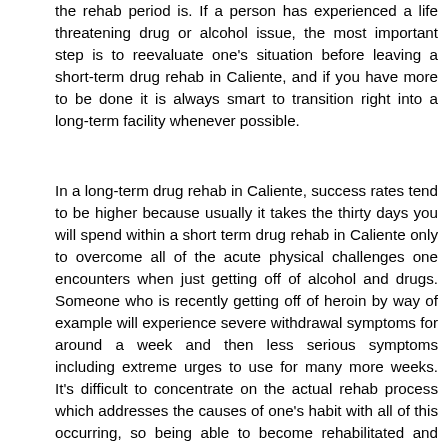the rehab period is. If a person has experienced a life threatening drug or alcohol issue, the most important step is to reevaluate one's situation before leaving a short-term drug rehab in Caliente, and if you have more to be done it is always smart to transition right into a long-term facility whenever possible.
In a long-term drug rehab in Caliente, success rates tend to be higher because usually it takes the thirty days you will spend within a short term drug rehab in Caliente only to overcome all of the acute physical challenges one encounters when just getting off of alcohol and drugs. Someone who is recently getting off of heroin by way of example will experience severe withdrawal symptoms for around a week and then less serious symptoms including extreme urges to use for many more weeks. It's difficult to concentrate on the actual rehab process which addresses the causes of one's habit with all of this occurring, so being able to become rehabilitated and have any chance at long-term abstinence is much more realistic in a long-term Caliente drug rehab. So after detoxification and after conquering the withdrawal symptoms, individuals inside a long-term drug rehab in Caliente can take part in rehabilitation